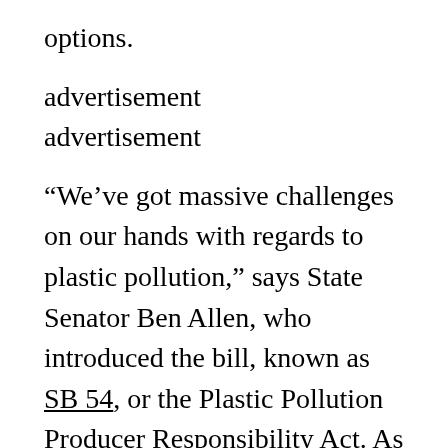options.
advertisement
advertisement
“We’ve got massive challenges on our hands with regards to plastic pollution,” says State Senator Ben Allen, who introduced the bill, known as SB 54, or the Plastic Pollution Producer Responsibility Act. As the amount of plastic packaging has